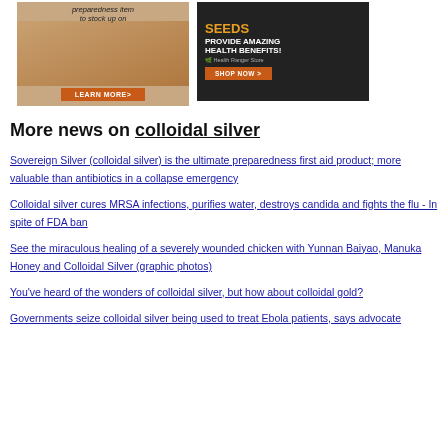[Figure (photo): Two advertisement banners side by side: left shows pink salt with a wooden scoop and 'LEARN MORE>' button; right shows chia seeds with 'SEEDS PROVIDE AMAZING HEALTH BENEFITS! Health Ranger Store SHOP NOW >' text.]
More news on colloidal silver
Sovereign Silver (colloidal silver) is the ultimate preparedness first aid product; more valuable than antibiotics in a collapse emergency
Colloidal silver cures MRSA infections, purifies water, destroys candida and fights the flu - In spite of FDA ban
See the miraculous healing of a severely wounded chicken with Yunnan Baiyao, Manuka Honey and Colloidal Silver (graphic photos)
You've heard of the wonders of colloidal silver, but how about colloidal gold?
Governments seize colloidal silver being used to treat Ebola patients, says advocate